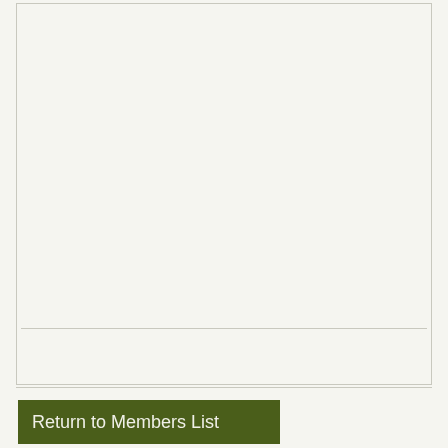[Figure (other): Large empty content box with a light beige/off-white background and a thin border, taking up most of the page. A horizontal rule appears near the bottom of the box.]
Return to Members List